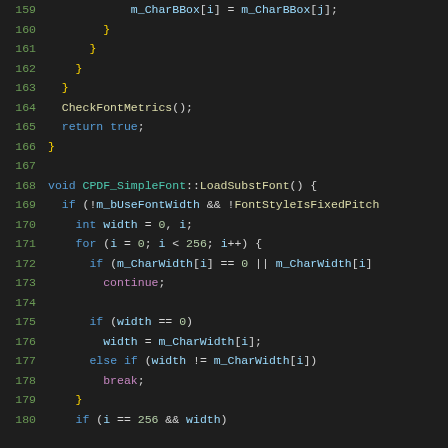Source code listing lines 159-180, C++ code for CPDF_SimpleFont::LoadSubstFont
159: m_CharBBox[i] = m_CharBBox[j];
160: }
161: }
162: }
163: }
164: CheckFontMetrics();
165: return true;
166: }
167: (blank)
168: void CPDF_SimpleFont::LoadSubstFont() {
169: if (!m_bUseFontWidth && !FontStyleIsFixedPitch
170: int width = 0, i;
171: for (i = 0; i < 256; i++) {
172: if (m_CharWidth[i] == 0 || m_CharWidth[i]
173: continue;
174: (blank)
175: if (width == 0)
176: width = m_CharWidth[i];
177: else if (width != m_CharWidth[i])
178: break;
179: }
180: if (i == 256 && width)